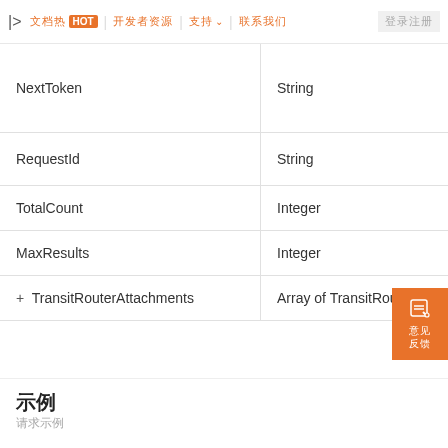| > 文档热 HOT | 开发者资源 | 支持 ∨ | 联系我们 | 登录注册
|  |  |
| --- | --- |
| NextToken | String |
| RequestId | String |
| TotalCount | Integer |
| MaxResults | Integer |
| + TransitRouterAttachments | Array of TransitRouterAttachment |
示例
请求示例